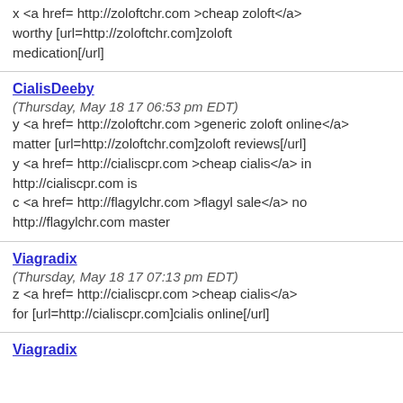x <a href= http://zoloftchr.com >cheap zoloft</a> worthy [url=http://zoloftchr.com]zoloft medication[/url]
CialisDeeby
(Thursday, May 18 17 06:53 pm EDT)
y <a href= http://zoloftchr.com >generic zoloft online</a> matter [url=http://zoloftchr.com]zoloft reviews[/url]
y <a href= http://cialiscpr.com >cheap cialis</a> in http://cialiscpr.com is
c <a href= http://flagylchr.com >flagyl sale</a> no http://flagylchr.com master
Viagradix
(Thursday, May 18 17 07:13 pm EDT)
z <a href= http://cialiscpr.com >cheap cialis</a> for [url=http://cialiscpr.com]cialis online[/url]
Viagradix